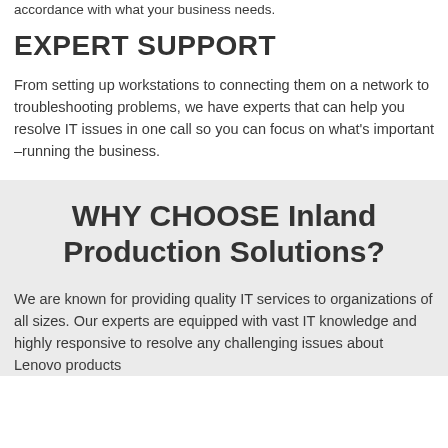accordance with what your business needs.
EXPERT SUPPORT
From setting up workstations to connecting them on a network to troubleshooting problems, we have experts that can help you resolve IT issues in one call so you can focus on what's important –running the business.
WHY CHOOSE Inland Production Solutions?
We are known for providing quality IT services to organizations of all sizes. Our experts are equipped with vast IT knowledge and highly responsive to resolve any challenging issues about Lenovo products